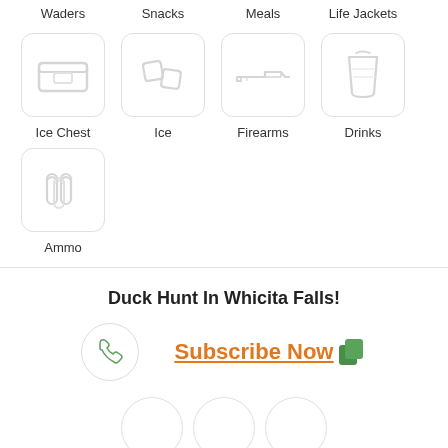Waders
Snacks
Meals
Life Jackets
[Figure (illustration): Ice Chest icon in rounded rectangle box]
Ice Chest
[Figure (illustration): Ice cubes icon in rounded rectangle box]
Ice
[Figure (illustration): Firearms icon in rounded rectangle box]
Firearms
[Figure (illustration): Drinks cup icon in rounded rectangle box]
Drinks
[Figure (illustration): Ammo/bullets icon in rounded rectangle box]
Ammo
Duck Hunt In Whicita Falls!
Subscribe Now